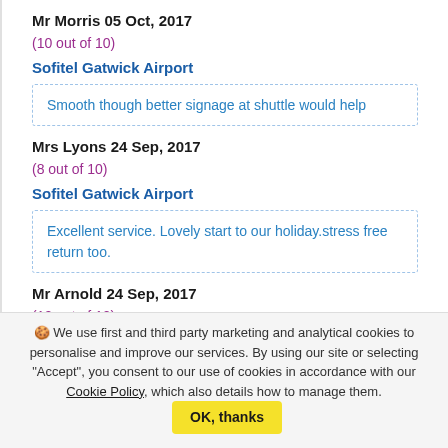Mr Morris 05 Oct, 2017
(10 out of 10)
Sofitel Gatwick Airport
Smooth though better signage at shuttle would help
Mrs Lyons 24 Sep, 2017
(8 out of 10)
Sofitel Gatwick Airport
Excellent service. Lovely start to our holiday.stress free return too.
Mr Arnold 24 Sep, 2017
(10 out of 10)
🍪 We use first and third party marketing and analytical cookies to personalise and improve our services. By using our site or selecting "Accept", you consent to our use of cookies in accordance with our Cookie Policy, which also details how to manage them.